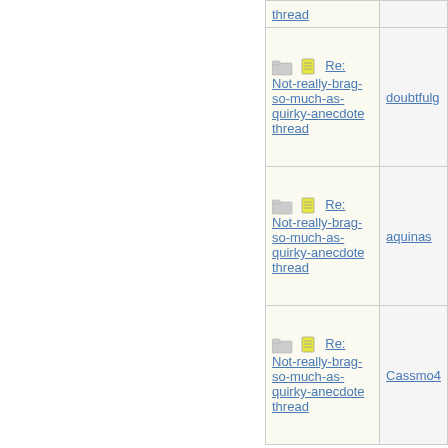| Subject | Author |
| --- | --- |
| Re: Not-really-brag-so-much-as-quirky-anecdote thread | doubtfulg |
| Re: Not-really-brag-so-much-as-quirky-anecdote thread | aquinas |
| Re: Not-really-brag-so-much-as-quirky-anecdote thread | Cassmo4 |
| Re: Not-really-brag-so-much-as-quirky-anecdote thread | aquinas |
| Re: Not-really-brag-so-much-as-quirky-anecdote thread | Mana |
| Re: Not-really-brag-so-much-as-quirky-anecdote thread | aquinas |
| Re: Not-really-... |  |